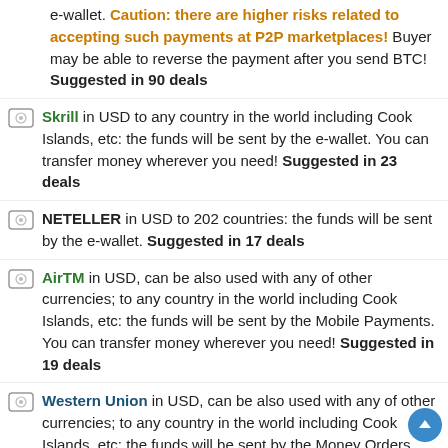e-wallet. Caution: there are higher risks related to accepting such payments at P2P marketplaces! Buyer may be able to reverse the payment after you send BTC! Suggested in 90 deals
Skrill in USD to any country in the world including Cook Islands, etc: the funds will be sent by the e-wallet. You can transfer money wherever you need! Suggested in 23 deals
NETELLER in USD to 202 countries: the funds will be sent by the e-wallet. Suggested in 17 deals
AirTM in USD, can be also used with any of other currencies; to any country in the world including Cook Islands, etc: the funds will be sent by the Mobile Payments. You can transfer money wherever you need! Suggested in 19 deals
Western Union in USD, can be also used with any of other currencies; to any country in the world including Cook Islands, etc: the funds will be sent by the Money Orders. You can transfer money wherever you need! Suggested in 44 deals
MoneyGram in USD, can be also used with any of other currencies; to any country in the world including Cook Islands, etc: the funds will be sent by the Money Orders. You can transfer money wherever you need! Suggested in 20 deals
SWIFT Transfer in USD, can be also used with any of other currencies; to any country in the world including